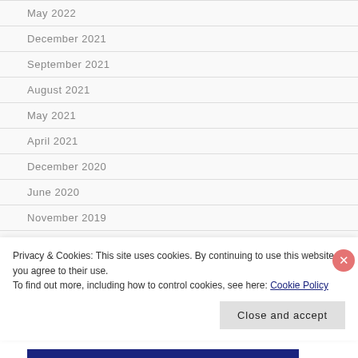May 2022
December 2021
September 2021
August 2021
May 2021
April 2021
December 2020
June 2020
November 2019
Privacy & Cookies: This site uses cookies. By continuing to use this website, you agree to their use.
To find out more, including how to control cookies, see here: Cookie Policy